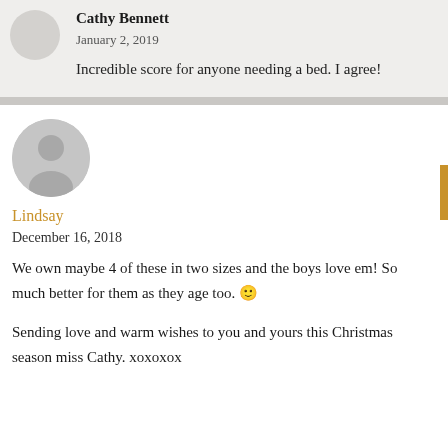Cathy Bennett
January 2, 2019
Incredible score for anyone needing a bed. I agree!
Lindsay
December 16, 2018
We own maybe 4 of these in two sizes and the boys love em! So much better for them as they age too. 🙂
Sending love and warm wishes to you and yours this Christmas season miss Cathy. xoxoxox